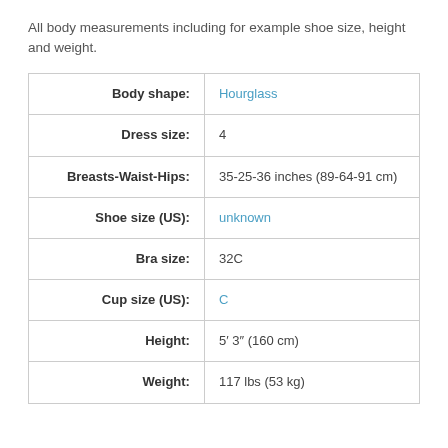All body measurements including for example shoe size, height and weight.
| Attribute | Value |
| --- | --- |
| Body shape: | Hourglass |
| Dress size: | 4 |
| Breasts-Waist-Hips: | 35-25-36 inches (89-64-91 cm) |
| Shoe size (US): | unknown |
| Bra size: | 32C |
| Cup size (US): | C |
| Height: | 5′ 3″ (160 cm) |
| Weight: | 117 lbs (53 kg) |